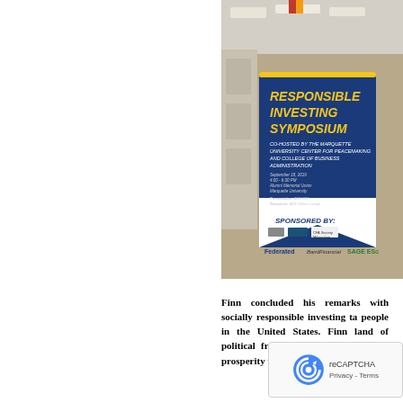[Figure (photo): Photo of a symposium sign reading 'RESPONSIBLE INVESTING SYMPOSIUM' co-hosted by the Marquette University Center for Peacemaking and College of Business Administration, sponsored by Federated, Baird Financial, SAGE ESG, CFA Society Milwaukee. The sign is displayed in a hallway.]
Finn concluded his remarks with socially responsible investing ta... people in the United States. Finn land of political freedo... Finn said, as we mu... prosperity we enjoy to...